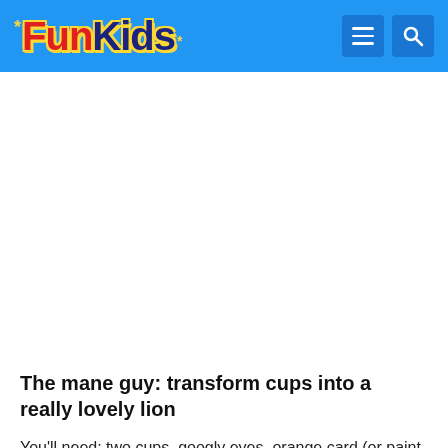Fun Kids
The mane guy: transform cups into a really lovely lion
You'll need: two cups, googly eyes, orange card (or paint some), a black felt tip, tape
First they make the head and mane by cutting from the